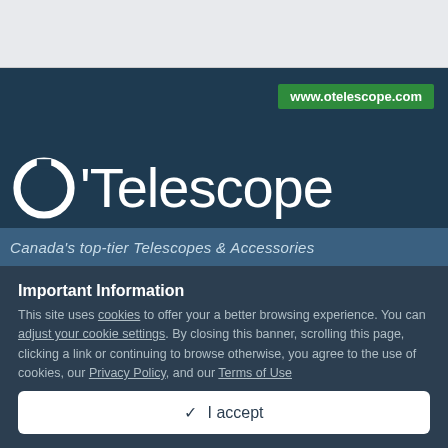[Figure (logo): O'Telescope logo on dark blue background with www.otelescope.com green badge and tagline 'Canada's top-tier Telescopes & Accessories']
Important Information
This site uses cookies to offer your a better browsing experience. You can adjust your cookie settings. By closing this banner, scrolling this page, clicking a link or continuing to browse otherwise, you agree to the use of cookies, our Privacy Policy, and our Terms of Use
✓  I accept